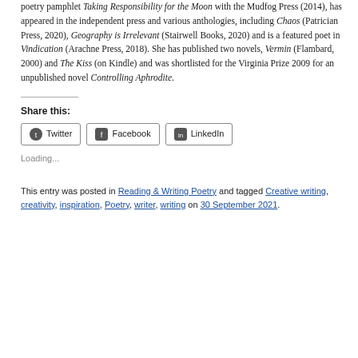poetry pamphlet Taking Responsibility for the Moon with the Mudfog Press (2014), has appeared in the independent press and various anthologies, including Chaos (Patrician Press, 2020), Geography is Irrelevant (Stairwell Books, 2020) and is a featured poet in Vindication (Arachne Press, 2018). She has published two novels, Vermin (Flambard, 2000) and The Kiss (on Kindle) and was shortlisted for the Virginia Prize 2009 for an unpublished novel Controlling Aphrodite.
Share this:
[Figure (other): Social share buttons: Twitter, Facebook, LinkedIn]
Loading...
This entry was posted in Reading & Writing Poetry and tagged Creative writing, creativity, inspiration, Poetry, writer, writing on 30 September 2021.